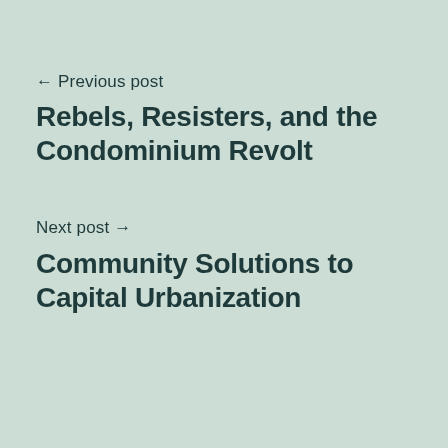← Previous post
Rebels, Resisters, and the Condominium Revolt
Next post →
Community Solutions to Capital Urbanization